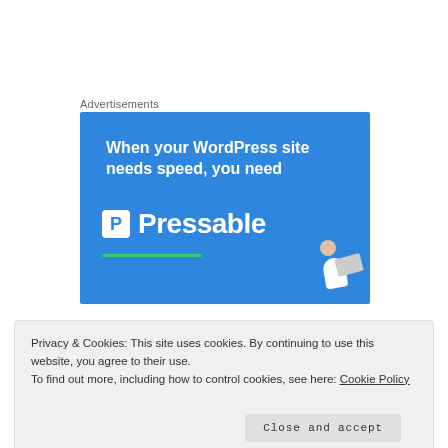Advertisements
[Figure (illustration): Blue advertisement banner for Pressable WordPress hosting. White bold text reads: 'When your WordPress site needs speed, you need' followed by the Pressable logo (white P in a box) and 'Pressable' brand name in large white text. A green horizontal line appears below. A person running with a laptop is shown in the lower right corner.]
Privacy & Cookies: This site uses cookies. By continuing to use this website, you agree to their use.
To find out more, including how to control cookies, see here: Cookie Policy
Close and accept